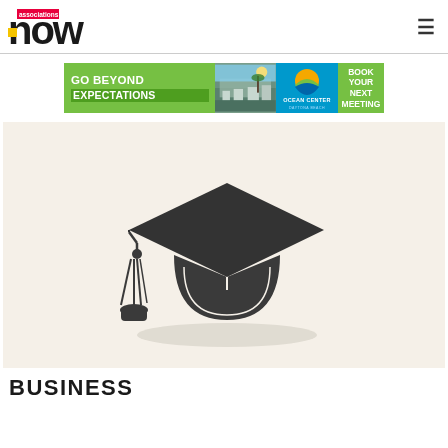associations now
[Figure (illustration): Ocean Center Daytona Beach advertisement banner: Green background with text 'GO BEYOND EXPECTATIONS', photo of convention center building, Ocean Center logo with sunset graphic, and 'BOOK YOUR NEXT MEETING' on green background]
[Figure (illustration): Graduation cap (mortarboard) icon in dark charcoal color with tassel, on a cream/beige background]
BUSINESS